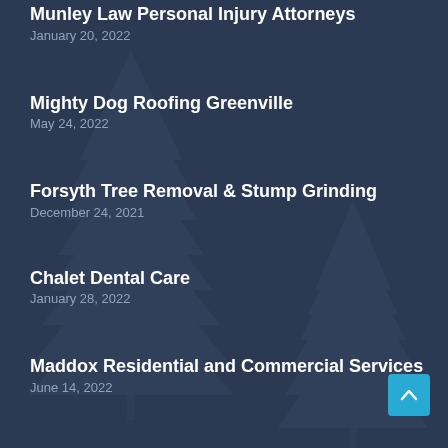Munley Law Personal Injury Attorneys
January 20, 2022
Mighty Dog Roofing Greenville
May 24, 2022
Forsyth Tree Removal & Stump Grinding
December 24, 2021
Chalet Dental Care
January 28, 2022
Maddox Residential and Commercial Services
June 14, 2022